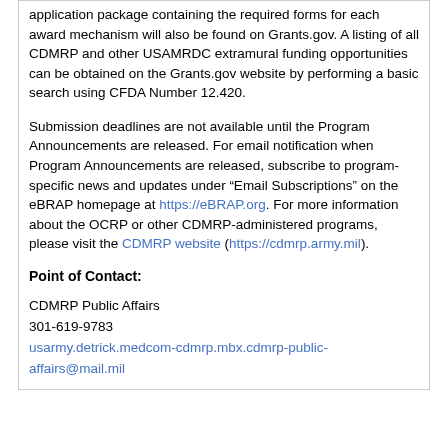application package containing the required forms for each award mechanism will also be found on Grants.gov. A listing of all CDMRP and other USAMRDC extramural funding opportunities can be obtained on the Grants.gov website by performing a basic search using CFDA Number 12.420.
Submission deadlines are not available until the Program Announcements are released. For email notification when Program Announcements are released, subscribe to program-specific news and updates under “Email Subscriptions” on the eBRAP homepage at https://eBRAP.org. For more information about the OCRP or other CDMRP-administered programs, please visit the CDMRP website (https://cdmrp.army.mil).
Point of Contact:
CDMRP Public Affairs
301-619-9783
usarmy.detrick.medcom-cdmrp.mbx.cdmrp-public-affairs@mail.mil